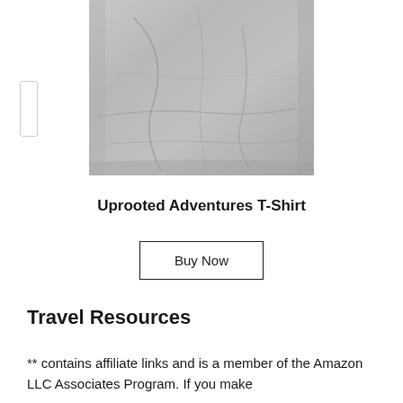[Figure (photo): A grey folded/crumpled t-shirt displayed on a white background, partially cropped at the top. A small navigation arrow bracket is visible on the left side.]
Uprooted Adventures T-Shirt
Buy Now
Travel Resources
** contains affiliate links and is a member of the Amazon LLC Associates Program. If you make